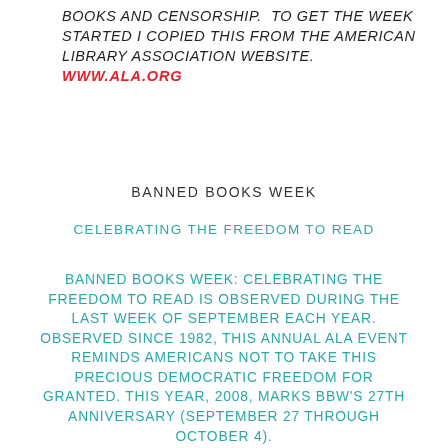BOOKS AND CENSORSHIP. TO GET THE WEEK STARTED I COPIED THIS FROM THE AMERICAN LIBRARY ASSOCIATION WEBSITE. WWW.ALA.ORG
BANNED BOOKS WEEK
CELEBRATING THE FREEDOM TO READ
BANNED BOOKS WEEK: CELEBRATING THE FREEDOM TO READ IS OBSERVED DURING THE LAST WEEK OF SEPTEMBER EACH YEAR. OBSERVED SINCE 1982, THIS ANNUAL ALA EVENT REMINDS AMERICANS NOT TO TAKE THIS PRECIOUS DEMOCRATIC FREEDOM FOR GRANTED. THIS YEAR, 2008, MARKS BBW'S 27TH ANNIVERSARY (SEPTEMBER 27 THROUGH OCTOBER 4).